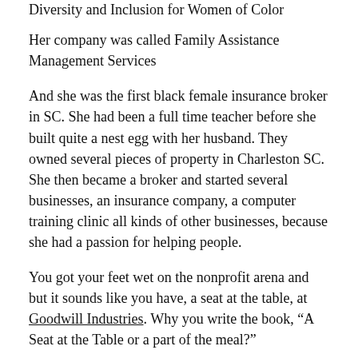Diversity and Inclusion for Women of Color
Her company was called Family Assistance Management Services
And she was the first black female insurance broker in SC. She had been a full time teacher before she built quite a nest egg with her husband. They owned several pieces of property in Charleston SC. She then became a broker and started several businesses, an insurance company, a computer training clinic all kinds of other businesses, because she had a passion for helping people.
You got your feet wet on the nonprofit arena and but it sounds like you have, a seat at the table, at Goodwill Industries. Why you write the book, “A Seat at the Table or a part of the meal?”
I was born in September 1964 a month after the